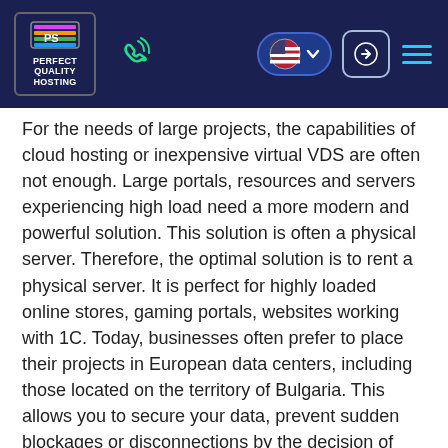Perfect Quality Hosting
For the needs of large projects, the capabilities of cloud hosting or inexpensive virtual VDS are often not enough. Large portals, resources and servers experiencing high load need a more modern and powerful solution. This solution is often a physical server. Therefore, the optimal solution is to rent a physical server. It is perfect for highly loaded online stores, gaming portals, websites working with 1C. Today, businesses often prefer to place their projects in European data centers, including those located on the territory of Bulgaria. This allows you to secure your data, prevent sudden blockages or disconnections by the decision of supervisory authorities.
Our specialists will always help you to choose the perfect VPS/VDS configuration in Bulgaria, so that you